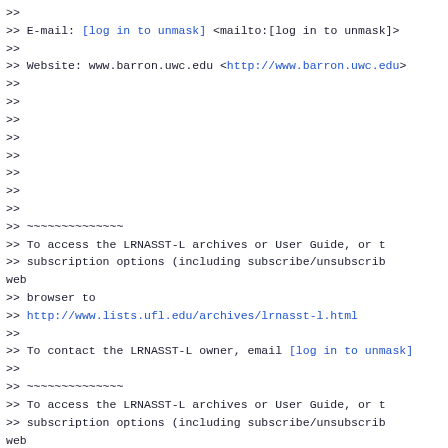>>
>> E-mail: [log in to unmask] <mailto:[log in to unmask]>
>>
>> Website: www.barron.uwc.edu <http://www.barron.uwc.edu>
>>
>>
>>
>>
>>
>>
>>
>>
>> ~~~~~~~~~~~~~~
>> To access the LRNASST-L archives or User Guide, or t
>> subscription options (including subscribe/unsubscrib
web
>> browser to
>> http://www.lists.ufl.edu/archives/lrnasst-l.html
>>
>> To contact the LRNASST-L owner, email [log in to unmask]
>>
>> ~~~~~~~~~~~~~~
>> To access the LRNASST-L archives or User Guide, or t
>> subscription options (including subscribe/unsubscrib
web
>> browser to
>> http://www.lists.ufl.edu/archives/lrnasst-l.html
>>
>> To contact the LRNASST-L owner, email [log in to unmask]
>